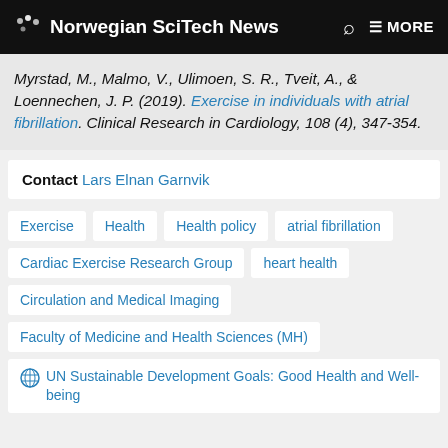Norwegian SciTech News
Myrstad, M., Malmo, V., Ulimoen, S. R., Tveit, A., & Loennechen, J. P. (2019). Exercise in individuals with atrial fibrillation. Clinical Research in Cardiology, 108 (4), 347-354.
Contact Lars Elnan Garnvik
Exercise
Health
Health policy
atrial fibrillation
Cardiac Exercise Research Group
heart health
Circulation and Medical Imaging
Faculty of Medicine and Health Sciences (MH)
UN Sustainable Development Goals: Good Health and Well-being